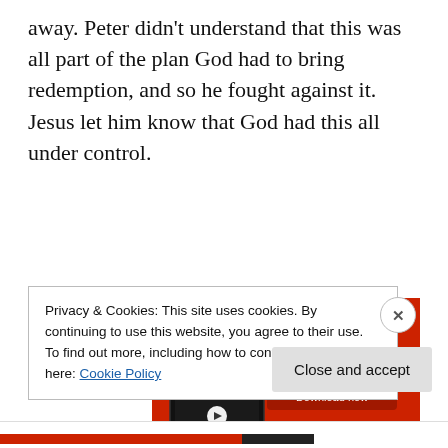away. Peter didn't understand that this was all part of the plan God had to bring redemption, and so he fought against it. Jesus let him know that God had this all under control.
[Figure (screenshot): Advertisement for a podcast app showing a smartphone displaying a podcast called 'Distributed', on a red background. Text reads 'An app by listeners, for listeners.' with a 'Download now' button.]
Privacy & Cookies: This site uses cookies. By continuing to use this website, you agree to their use.
To find out more, including how to control cookies, see here: Cookie Policy
Close and accept